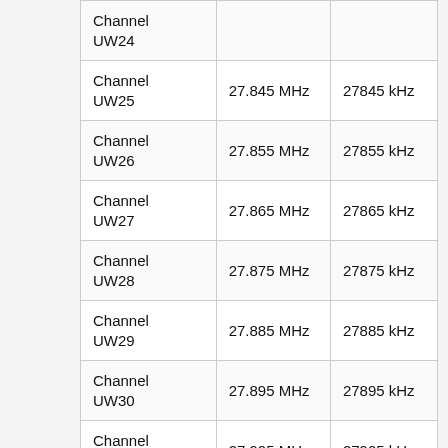| Channel UW24 |  |  |
| Channel UW25 | 27.845 MHz | 27845 kHz |
| Channel UW26 | 27.855 MHz | 27855 kHz |
| Channel UW27 | 27.865 MHz | 27865 kHz |
| Channel UW28 | 27.875 MHz | 27875 kHz |
| Channel UW29 | 27.885 MHz | 27885 kHz |
| Channel UW30 | 27.895 MHz | 27895 kHz |
| Channel UW31 | 27.905 MHz | 27905 kHz |
| Channel UW32 | 27.915 MHz | 27915 kHz |
| Channel UW33 | 27.925 MHz | 27925 kHz |
| Channel UW34 | 27.935 MHz | 27935 kHz |